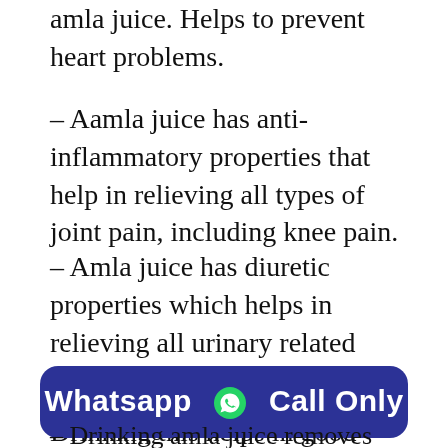cholesterol is controlled by drinking amla juice. Helps to prevent heart problems.
– Aamla juice has anti-inflammatory properties that help in relieving all types of joint pain, including knee pain.
– Amla juice has diuretic properties which helps in relieving all urinary related problems.
– Amla juice is high in fiber. Drinking this helps in good digestion and relieves
[Figure (other): Whatsapp Call Only button with WhatsApp logo icon, dark blue rounded rectangle]
– Drinking amla juice removes toxins